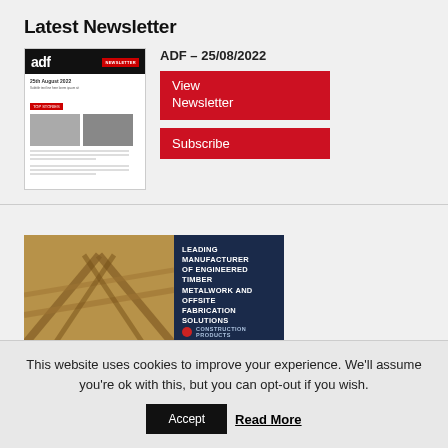Latest Newsletter
ADF – 25/08/2022
[Figure (screenshot): Thumbnail of ADF newsletter dated 25th August 2022 showing building photos]
View Newsletter
Subscribe
[Figure (photo): Advertisement banner showing timber roof structure with dark blue panel reading LEADING MANUFACTURER OF ENGINEERED TIMBER METALWORK AND OFFSITE FABRICATION SOLUTIONS - Construction Products]
[Figure (photo): Advertisement banner for T-T Pumping showing machinery image and blue vertical bar]
This website uses cookies to improve your experience. We'll assume you're ok with this, but you can opt-out if you wish.
Accept
Read More